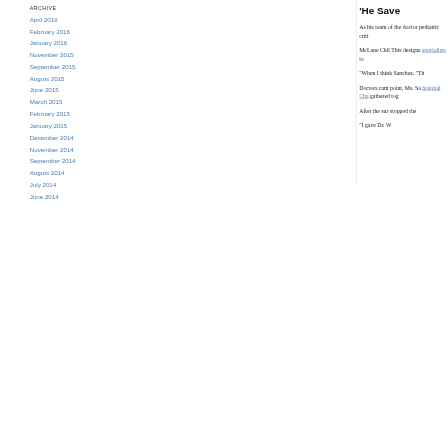Archive
April 2016
February 2016
January 2016
November 2015
September 2015
August 2015
June 2015
March 2015
February 2015
January 2015
December 2014
November 2014
September 2014
August 2014
July 2014
June 2014
‘He Save
As his team of the doctor pediatric criti
McLane Chil This designa specialists to
“When I think Sanchez. “Th
Doctors cam point, Ms. Sa hospital Cha gathered tog
After the sur stopped the
“I gave Dr. W